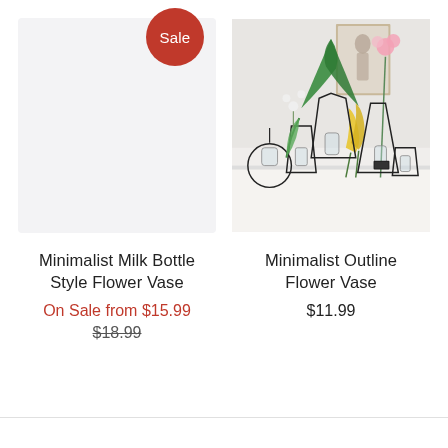[Figure (photo): Product image placeholder for Minimalist Milk Bottle Style Flower Vase with red Sale badge]
[Figure (photo): Photo of Minimalist Outline Flower Vase showing multiple wire-frame geometric vases with flowers including green palm leaf, yellow calla lilies, and pink flowers on a white surface with a framed artwork behind]
Minimalist Milk Bottle Style Flower Vase
On Sale from $15.99
$18.99
Minimalist Outline Flower Vase
$11.99